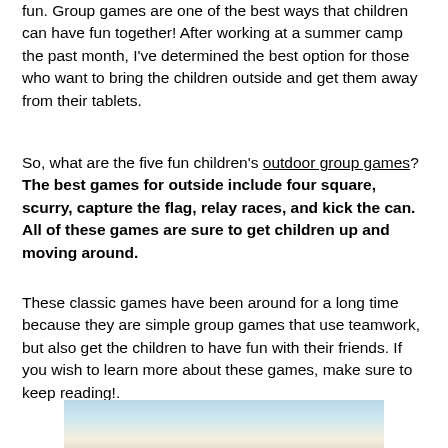fun. Group games are one of the best ways that children can have fun together! After working at a summer camp the past month, I've determined the best option for those who want to bring the children outside and get them away from their tablets.
So, what are the five fun children's outdoor group games? The best games for outside include four square, scurry, capture the flag, relay races, and kick the can. All of these games are sure to get children up and moving around.
These classic games have been around for a long time because they are simple group games that use teamwork, but also get the children to have fun with their friends. If you wish to learn more about these games, make sure to keep reading!.
[Figure (photo): Photo of children playing outdoors, partially visible at bottom of page]